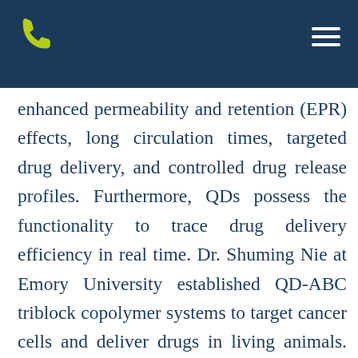enhanced permeability and retention (EPR) effects, long circulation times, targeted drug delivery, and controlled drug release profiles. Furthermore, QDs possess the functionality to trace drug delivery efficiency in real time. Dr. Shuming Nie at Emory University established QD-ABC triblock copolymer systems to target cancer cells and deliver drugs in living animals. These QDs can trace down the drug delivery and cancer treatment process (US 7,846,412 and US 8,394,760). Dr. Andrew Smith at the University of